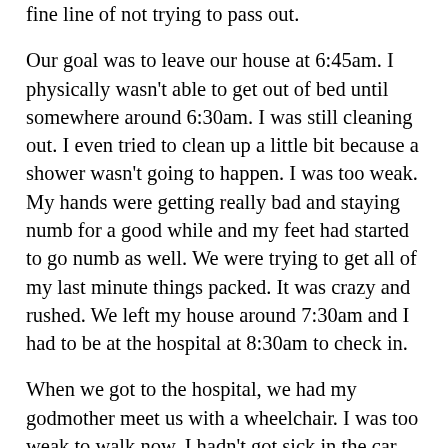fine line of not trying to pass out.
Our goal was to leave our house at 6:45am. I physically wasn't able to get out of bed until somewhere around 6:30am. I was still cleaning out. I even tried to clean up a little bit because a shower wasn't going to happen. I was too weak. My hands were getting really bad and staying numb for a good while and my feet had started to go numb as well. We were trying to get all of my last minute things packed. It was crazy and rushed. We left my house around 7:30am and I had to be at the hospital at 8:30am to check in.
When we got to the hospital, we had my godmother meet us with a wheelchair. I was too weak to walk now. I hadn't got sick in the car on the way down so I knew that as soon as I got out of the car, I would get sick. I got in the wheelchair with my cold washcloth on my forehead and this huge yellow mixing bowl (don't worry, it is what we use this bowl for) in my lap. I felt it coming and I told Jacob to go check me in and I immediately started throwing up again. It took me a bit to get everything under control and feel safe enough to leave to bathroom. I had found the silver lining in all of this. If I was